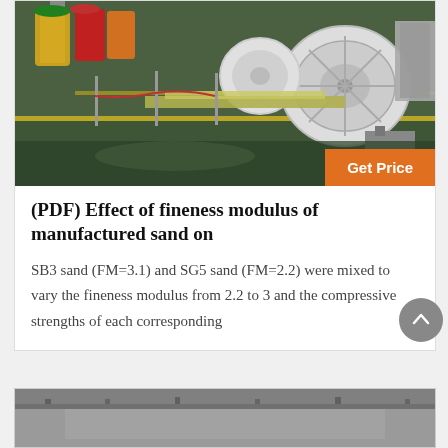[Figure (photo): Industrial facility interior showing large machinery with cable drums and spools, green floor with yellow lines, stanchion barriers with red rope, white industrial equipment in background.]
Get Price
(PDF) Effect of fineness modulus of manufactured sand on
SB3 sand (FM=3.1) and SG5 sand (FM=2.2) were mixed to vary the fineness modulus from 2.2 to 3 and the compressive strengths of each corresponding
[Figure (photo): Partial view of an industrial building interior in grayscale, showing structural elements and roof.]